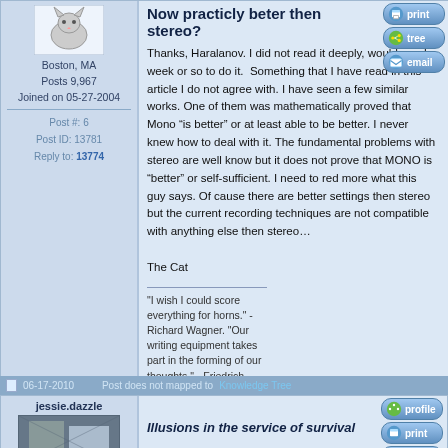[Figure (other): Forum user avatar - cat/dog pixel art icon]
Boston, MA
Posts 9,967
Joined on 05-27-2004
Post #: 6
Post ID: 13781
Reply to: 13774
Now practicly beter then stereo?
Thanks, Haralanov. I did not read it deeply, would need a week or so to do it. Something that I have read in this article I do not agree with. I have seen a few similar works. One of them was mathematically proved that Mono “is better” or at least able to be better. I never knew how to deal with it. The fundamental problems with stereo are well know but it does not prove that MONO is “better” or self-sufficient. I need to red more what this guy says. Of cause there are better settings then stereo but the current recording techniques are not compatible with anything else then stereo…

The Cat
"I wish I could score everything for horns." - Richard Wagner. "Our writing equipment takes part in the forming of our thoughts." - Friedrich Nietzsche
06-17-2010  Post does not mapped to Knowledge Tree
jessie.dazzle
Illusions in the service of survival